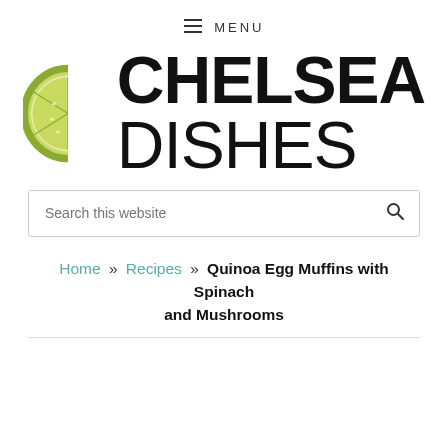≡ MENU
[Figure (logo): Chelsea Dishes logo with a lime/lemon slice illustration on the left and bold text CHELSEA DISHES on the right]
Search this website
Home » Recipes » Quinoa Egg Muffins with Spinach and Mushrooms